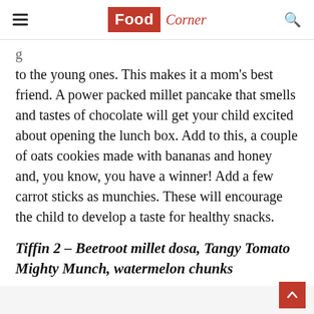Food Corner
to the young ones. This makes it a mom's best friend. A power packed millet pancake that smells and tastes of chocolate will get your child excited about opening the lunch box. Add to this, a couple of oats cookies made with bananas and honey and, you know, you have a winner! Add a few carrot sticks as munchies. These will encourage the child to develop a taste for healthy snacks.
Tiffin 2 – Beetroot millet dosa, Tangy Tomato Mighty Munch, watermelon chunks